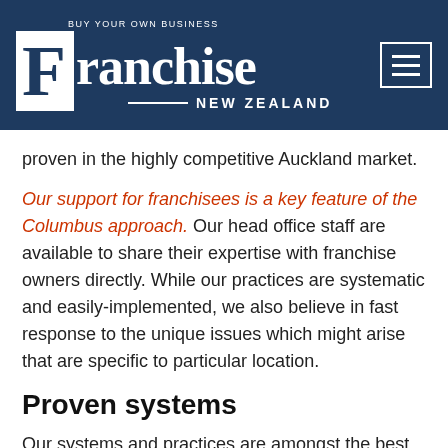[Figure (logo): Franchise New Zealand logo with 'Buy Your Own Business' tagline on dark navy background, with hamburger menu icon]
proven in the highly competitive Auckland market.
Our support for franchisees is a key feature of the Columbus approach. Our head office staff are available to share their expertise with franchise owners directly. While our practices are systematic and easily-implemented, we also believe in fast response to the unique issues which might arise that are specific to particular location.
Proven systems
Our systems and practices are amongst the best available. Columbus Coffee have NZQA certified operating manuals and training systems. We offer the reassuring endorsement of Westpac Bank